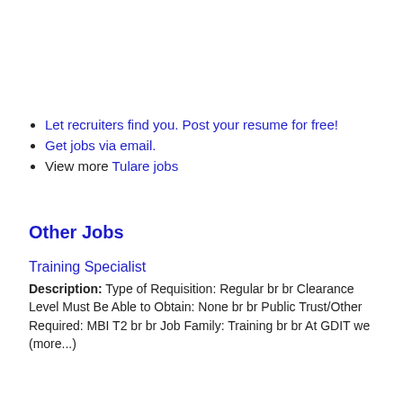Let recruiters find you. Post your resume for free!
Get jobs via email.
View more Tulare jobs
Other Jobs
Training Specialist
Description: Type of Requisition: Regular br br Clearance Level Must Be Able to Obtain: None br br Public Trust/Other Required: MBI T2 br br Job Family: Training br br At GDIT we (more...)